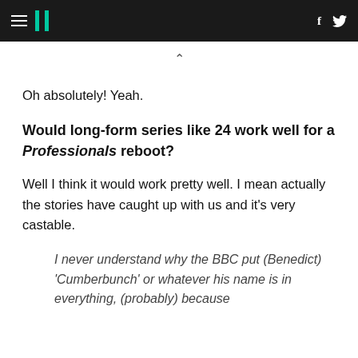HuffPost navigation header with hamburger menu, logo, Facebook and Twitter icons
Oh absolutely! Yeah.
Would long-form series like 24 work well for a Professionals reboot?
Well I think it would work pretty well. I mean actually the stories have caught up with us and it's very castable.
I never understand why the BBC put (Benedict) 'Cumberbunch' or whatever his name is in everything, (probably) because